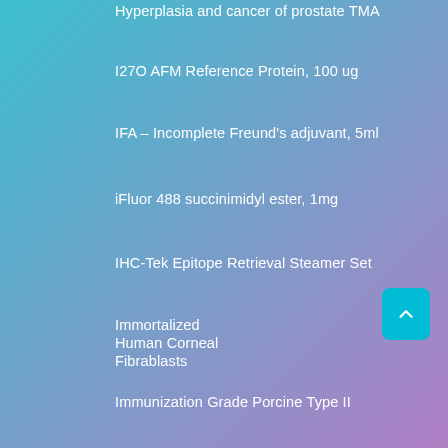Hyperplasia and cancer of prostate TMA
I27O AFM Reference Protein, 100 ug
IFA – Incomplete Freund's adjuvant, 5ml
iFluor 488 succinimidyl ester, 1mg
IHC-Tek Epitope Retrieval Steamer Set
Immortalized Human Corneal Fibrablasts
Immunization Grade Porcine Type II